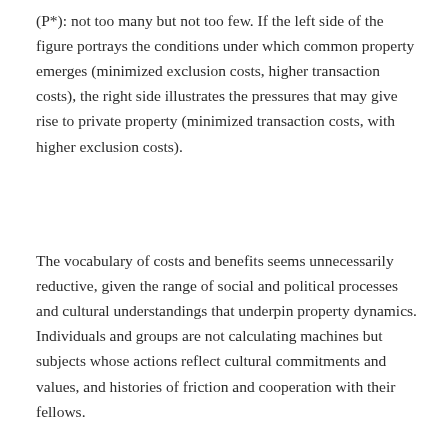(P*): not too many but not too few. If the left side of the figure portrays the conditions under which common property emerges (minimized exclusion costs, higher transaction costs), the right side illustrates the pressures that may give rise to private property (minimized transaction costs, with higher exclusion costs).
The vocabulary of costs and benefits seems unnecessarily reductive, given the range of social and political processes and cultural understandings that underpin property dynamics. Individuals and groups are not calculating machines but subjects whose actions reflect cultural commitments and values, and histories of friction and cooperation with their fellows.